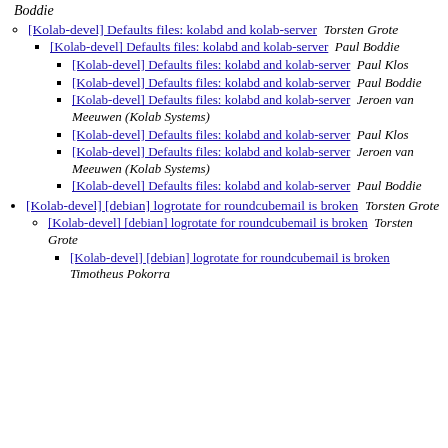Boddie
[Kolab-devel] Defaults files: kolabd and kolab-server  Torsten Grote
[Kolab-devel] Defaults files: kolabd and kolab-server  Paul Boddie
[Kolab-devel] Defaults files: kolabd and kolab-server  Paul Klos
[Kolab-devel] Defaults files: kolabd and kolab-server  Paul Boddie
[Kolab-devel] Defaults files: kolabd and kolab-server  Jeroen van Meeuwen (Kolab Systems)
[Kolab-devel] Defaults files: kolabd and kolab-server  Paul Klos
[Kolab-devel] Defaults files: kolabd and kolab-server  Jeroen van Meeuwen (Kolab Systems)
[Kolab-devel] Defaults files: kolabd and kolab-server  Paul Boddie
[Kolab-devel] [debian] logrotate for roundcubemail is broken  Torsten Grote
[Kolab-devel] [debian] logrotate for roundcubemail is broken  Torsten Grote
[Kolab-devel] [debian] logrotate for roundcubemail is broken  Timotheus Pokorra